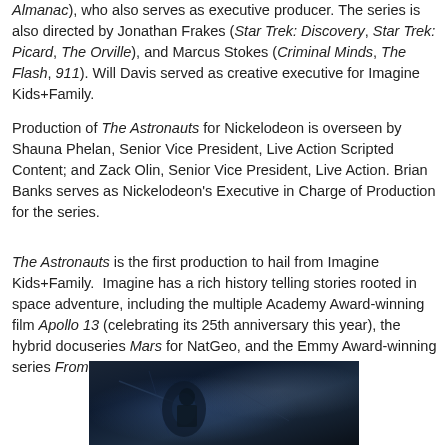Almanac), who also serves as executive producer. The series is also directed by Jonathan Frakes (Star Trek: Discovery, Star Trek: Picard, The Orville), and Marcus Stokes (Criminal Minds, The Flash, 911). Will Davis served as creative executive for Imagine Kids+Family.
Production of The Astronauts for Nickelodeon is overseen by Shauna Phelan, Senior Vice President, Live Action Scripted Content; and Zack Olin, Senior Vice President, Live Action. Brian Banks serves as Nickelodeon's Executive in Charge of Production for the series.
The Astronauts is the first production to hail from Imagine Kids+Family. Imagine has a rich history telling stories rooted in space adventure, including the multiple Academy Award-winning film Apollo 13 (celebrating its 25th anniversary this year), the hybrid docuseries Mars for NatGeo, and the Emmy Award-winning series From The Earth To The Moon for HBO.
[Figure (photo): Dark cinematic scene from The Astronauts, showing figures in low-light space-related setting with blue and dark tones]